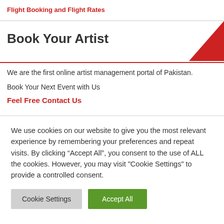Flight Booking and Flight Rates
Book Your Artist
We are the first online artist management portal of Pakistan.
Book Your Next Event with Us
Feel Free Contact Us
We use cookies on our website to give you the most relevant experience by remembering your preferences and repeat visits. By clicking “Accept All”, you consent to the use of ALL the cookies. However, you may visit "Cookie Settings" to provide a controlled consent.